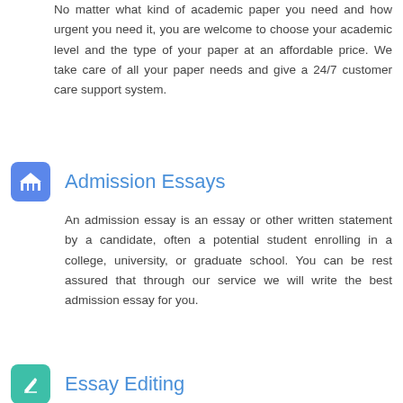No matter what kind of academic paper you need and how urgent you need it, you are welcome to choose your academic level and the type of your paper at an affordable price. We take care of all your paper needs and give a 24/7 customer care support system.
Admission Essays
An admission essay is an essay or other written statement by a candidate, often a potential student enrolling in a college, university, or graduate school. You can be rest assured that through our service we will write the best admission essay for you.
Essay Editing